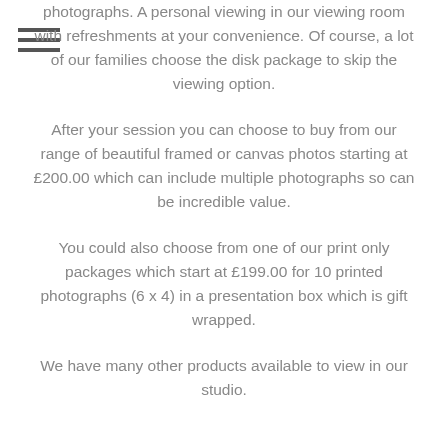photographs. A personal viewing in our viewing room with refreshments at your convenience. Of course, a lot of our families choose the disk package to skip the viewing option.
After your session you can choose to buy from our range of beautiful framed or canvas photos starting at £200.00 which can include multiple photographs so can be incredible value.
You could also choose from one of our print only packages which start at £199.00 for 10 printed photographs (6 x 4) in a presentation box which is gift wrapped.
We have many other products available to view in our studio.